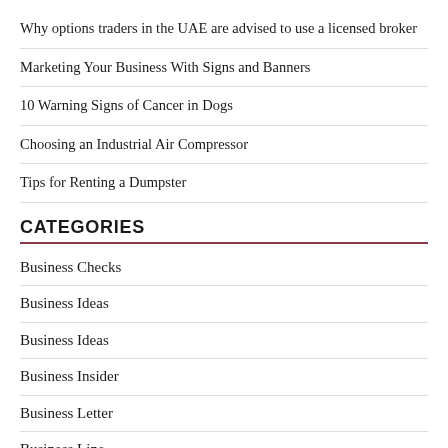Why options traders in the UAE are advised to use a licensed broker
Marketing Your Business With Signs and Banners
10 Warning Signs of Cancer in Dogs
Choosing an Industrial Air Compressor
Tips for Renting a Dumpster
CATEGORIES
Business Checks
Business Ideas
Business Ideas
Business Insider
Business Letter
Business Line